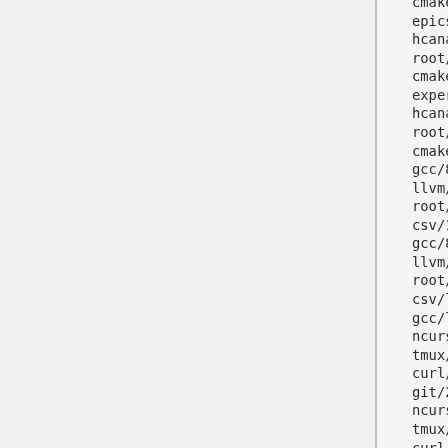cmake/3.10.3
epics/latest
hcana/1.0
root/6.14.04
cmake/3.12.2
experimental/imgui_dm/0.0.1
hcana/latest
root/6.15.0x
cmake/latest
gcc/8.1.0
llvm/6.0.1
root/dev
csv/1.0
gcc/8.2.0
llvm/latest
root/latest
csv/latest
gcc/latest
ncurses/6.1
tmux/2.7
curl/7.61.1
git/2.18.0
ncurses/latest
tmux/latest
curl/latest
git/latest
python/2.7.15
eigen3/3.3.5
hallc_tools/0.1
python/3.7.1
epics/base_7.0.1
hallc_tools/latest
root/6.14.0